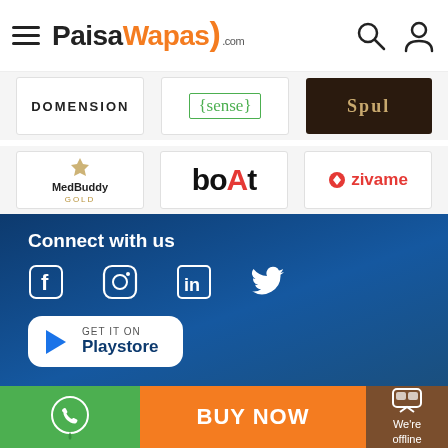PaisaWapas.com
[Figure (logo): Domension brand logo]
[Figure (logo): {sense} brand logo]
[Figure (logo): Dark brand logo (Spul)]
[Figure (logo): MedBuddy Gold logo]
[Figure (logo): boAt brand logo]
[Figure (logo): Zivame brand logo]
Connect with us
[Figure (infographic): Social media icons: Facebook, Instagram, LinkedIn, Twitter]
[Figure (infographic): GET IT ON Playstore button]
Company
About Us
Blog
Easy Guide
Home
BUY NOW | We're offline